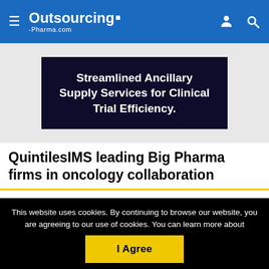Outsourcing-Pharma.com
[Figure (other): Dark navy advertisement banner with white bold text reading: Streamlined Ancillary Supply Services for Clinical Trial Efficiency.]
QuintilesIMS leading Big Pharma firms in oncology collaboration
This website uses cookies. By continuing to browse our website, you are agreeing to our use of cookies. You can learn more about cookies by visiting our privacy & cookies policy page.